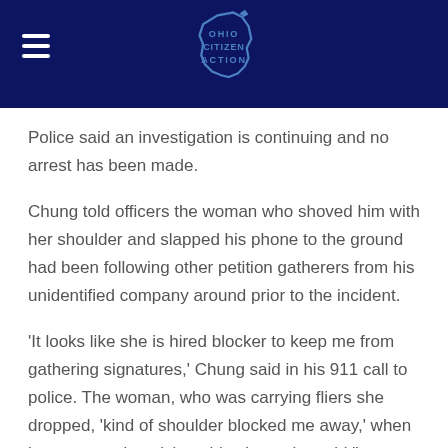Ohio Citizen Action
Police said an investigation is continuing and no arrest has been made.
Chung told officers the woman who shoved him with her shoulder and slapped his phone to the ground had been following other petition gatherers from his unidentified company around prior to the incident.
'It looks like she is hired blocker to keep me from gathering signatures,' Chung said in his 911 call to police. The woman, who was carrying fliers she dropped, 'kind of shoulder blocked me away,' when he attempted to pick up his phone, he said."